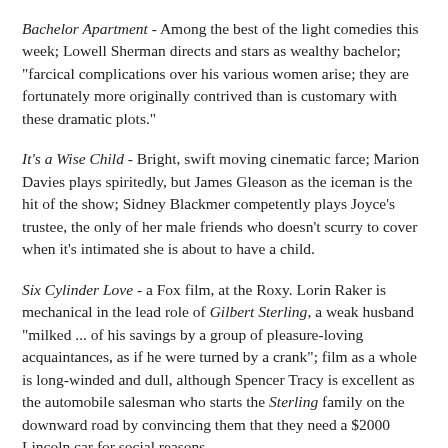Bachelor Apartment - Among the best of the light comedies this week; Lowell Sherman directs and stars as wealthy bachelor; "farcical complications over his various women arise; they are fortunately more originally contrived than is customary with these dramatic plots."
It's a Wise Child - Bright, swift moving cinematic farce; Marion Davies plays spiritedly, but James Gleason as the iceman is the hit of the show; Sidney Blackmer competently plays Joyce's trustee, the only of her male friends who doesn't scurry to cover when it's intimated she is about to have a child.
Six Cylinder Love - a Fox film, at the Roxy. Lorin Raker is mechanical in the lead role of Gilbert Sterling, a weak husband "milked ... of his savings by a group of pleasure-loving acquaintances, as if he were turned by a crank"; film as a whole is long-winded and dull, although Spencer Tracy is excellent as the automobile salesman who starts the Sterling family on the downward road by convincing them that they need a $2000 Lincoln car for social reasons.
Jokes: